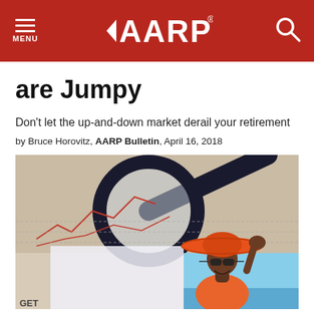MENU | AARP | Search
are Jumpy
Don't let the up-and-down market derail your retirement
by Bruce Horovitz, AARP Bulletin, April 16, 2018
[Figure (photo): Woman in orange sun hat and sunglasses smiling, overlaid on financial charts with magnifying glass in background]